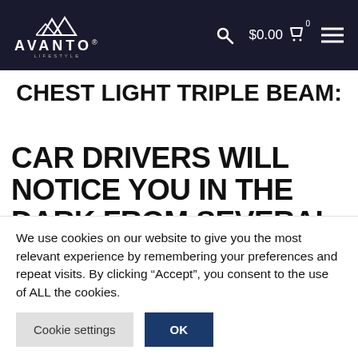Avanto Lifestyle — $0.00 cart
CHEST LIGHT TRIPLE BEAM:
CAR DRIVERS WILL NOTICE YOU IN THE DARK FROM SEVERAL HUNDRED METERS AWAY
We use cookies on our website to give you the most relevant experience by remembering your preferences and repeat visits. By clicking “Accept”, you consent to the use of ALL the cookies.
Cookie settings | OK